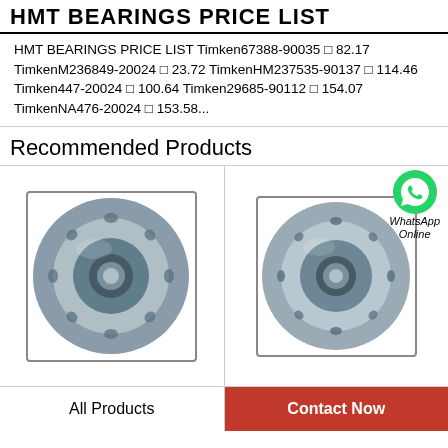HMT BEARINGS PRICE LIST
HMT BEARINGS PRICE LIST Timken67388-90035 □ 82.17 TimkenM236849-20024 □ 23.72 TimkenHM237535-90137 □ 114.46 Timken447-20024 □ 100.64 Timken29685-90112 □ 154.07 TimkenNA476-20024 □ 153.58...
Recommended Products
[Figure (photo): Tapered roller bearing / spherical roller bearing, metallic, industrial product photo]
[Figure (photo): Spherical roller bearing, metallic, industrial product photo with WhatsApp Online overlay]
All Products
Contact Now